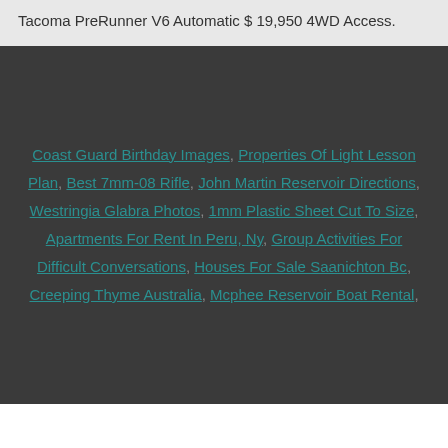Tacoma PreRunner V6 Automatic $ 19,950 4WD Access.
Coast Guard Birthday Images, Properties Of Light Lesson Plan, Best 7mm-08 Rifle, John Martin Reservoir Directions, Westringia Glabra Photos, 1mm Plastic Sheet Cut To Size, Apartments For Rent In Peru, Ny, Group Activities For Difficult Conversations, Houses For Sale Saanichton Bc, Creeping Thyme Australia, Mcphee Reservoir Boat Rental,